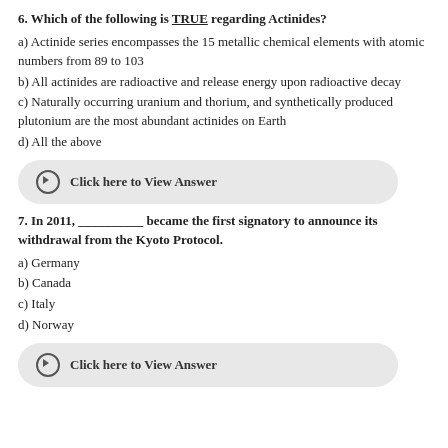6. Which of the following is TRUE regarding Actinides?
a) Actinide series encompasses the 15 metallic chemical elements with atomic numbers from 89 to 103
b) All actinides are radioactive and release energy upon radioactive decay
c) Naturally occurring uranium and thorium, and synthetically produced plutonium are the most abundant actinides on Earth
d) All the above
Click here to View Answer
7. In 2011, __________ became the first signatory to announce its withdrawal from the Kyoto Protocol.
a) Germany
b) Canada
c) Italy
d) Norway
Click here to View Answer